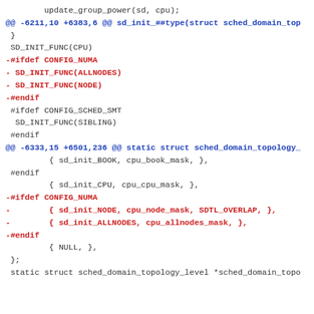update_group_power(sd, cpu);
@@ -6211,10 +6383,6 @@ sd_init_##type(struct sched_domain_top
}
SD_INIT_FUNC(CPU)
-#ifdef CONFIG_NUMA
- SD_INIT_FUNC(ALLNODES)
- SD_INIT_FUNC(NODE)
-#endif
#ifdef CONFIG_SCHED_SMT
SD_INIT_FUNC(SIBLING)
#endif
@@ -6333,15 +6501,236 @@ static struct sched_domain_topology_
{ sd_init_BOOK, cpu_book_mask, },
#endif
{ sd_init_CPU, cpu_cpu_mask, },
-#ifdef CONFIG_NUMA
-        { sd_init_NODE, cpu_node_mask, SDTL_OVERLAP, },
-        { sd_init_ALLNODES, cpu_allnodes_mask, },
-#endif
{ NULL, },
};
static struct sched_domain_topology_level *sched_domain_topo